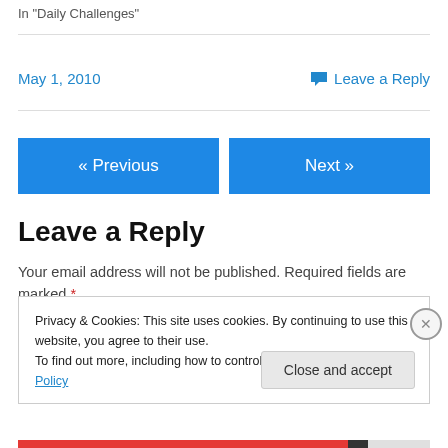In "Daily Challenges"
May 1, 2010
Leave a Reply
« Previous
Next »
Leave a Reply
Your email address will not be published. Required fields are marked *
Privacy & Cookies: This site uses cookies. By continuing to use this website, you agree to their use.
To find out more, including how to control cookies, see here: Cookie Policy
Close and accept